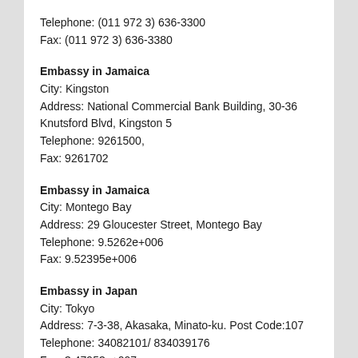Telephone: (011 972 3) 636-3300
Fax: (011 972 3) 636-3380
Embassy in Jamaica
City: Kingston
Address: National Commercial Bank Building, 30-36 Knutsford Blvd, Kingston 5
Telephone: 9261500,
Fax: 9261702
Embassy in Jamaica
City: Montego Bay
Address: 29 Gloucester Street, Montego Bay
Telephone: 9.5262e+006
Fax: 9.52395e+006
Embassy in Japan
City: Tokyo
Address: 7-3-38, Akasaka, Minato-ku. Post Code:107
Telephone: 34082101/ 834039176
Fax: 3.47953e+007